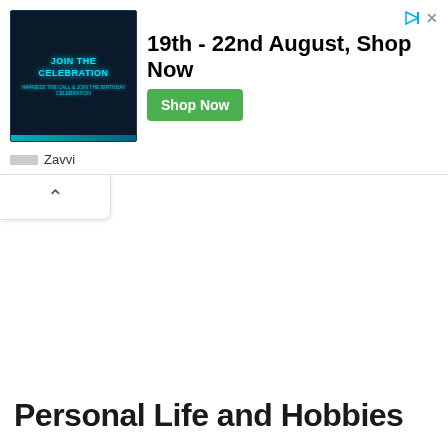[Figure (screenshot): Advertisement banner for Zavvi: 19th - 22nd August, Shop Now. Features a sci-fi themed image with teal glowing text 'JOIN THE CELEBRATION', a Shop Now green button, and Zavvi brand name.]
Personal Life and Hobbies